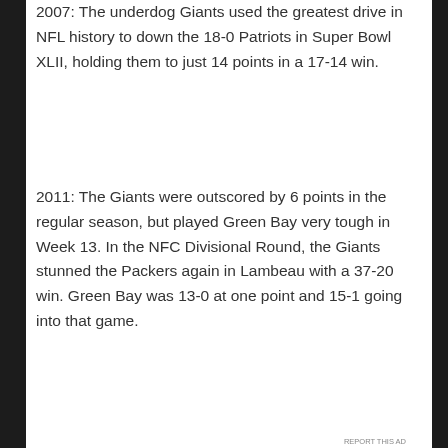2007: The underdog Giants used the greatest drive in NFL history to down the 18-0 Patriots in Super Bowl XLII, holding them to just 14 points in a 17-14 win.
2011: The Giants were outscored by 6 points in the regular season, but played Green Bay very tough in Week 13. In the NFC Divisional Round, the Giants stunned the Packers again in Lambeau with a 37-20 win. Green Bay was 13-0 at one point and 15-1 going into that game.
Advertisements
[Figure (logo): Dark background advertisement showing a logo with a white square and the number 2, resembling a TV channel logo (Channel 2 / BT Sport 2 style)]
Advertisements
[Figure (photo): Seamless food delivery advertisement showing pizza on the left, the Seamless logo in red, and an ORDER NOW button on the right]